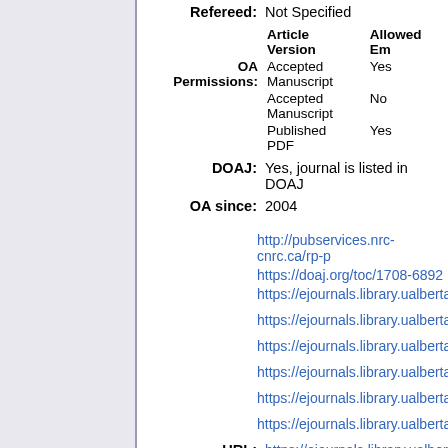Refereed: Not Specified
| Article Version | Allowed Em... |
| --- | --- |
| Accepted Manuscript | Yes |
| Accepted Manuscript | No |
| Published PDF | Yes |
DOAJ: Yes, journal is listed in DOAJ
OA since: 2004
http://pubservices.nrc-cnrc.ca/rp-p...
https://doaj.org/toc/1708-6892
https://ejournals.library.ualberta.ca...
https://ejournals.library.ualberta.ca...
https://ejournals.library.ualberta.ca...
https://ejournals.library.ualberta.ca...
https://ejournals.library.ualberta.ca...
URL: https://ejournals.library.ualberta.ca...